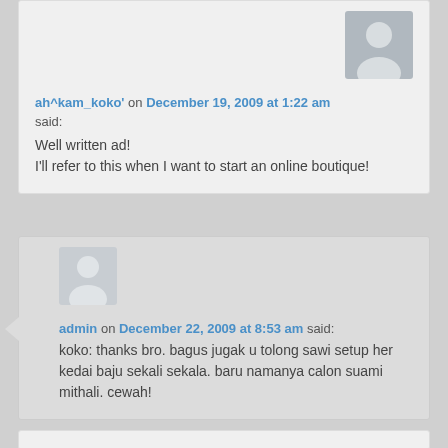ah^kam_koko' on December 19, 2009 at 1:22 am said:
Well written ad!
I'll refer to this when I want to start an online boutique!
admin on December 22, 2009 at 8:53 am said:
koko: thanks bro. bagus jugak u tolong sawi setup her kedai baju sekali sekala. baru namanya calon suami mithali. cewah!